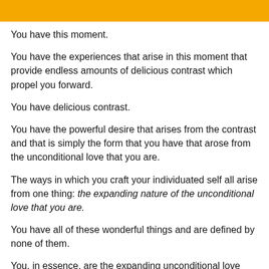You have this moment.
You have the experiences that arise in this moment that provide endless amounts of delicious contrast which propel you forward.
You have delicious contrast.
You have the powerful desire that arises from the contrast and that is simply the form that you have that arose from the unconditional love that you are.
The ways in which you craft your individuated self all arise from one thing: the expanding nature of the unconditional love that you are.
You have all of these wonderful things and are defined by none of them.
You, in essence, are the expanding unconditional love which is defining what you have.